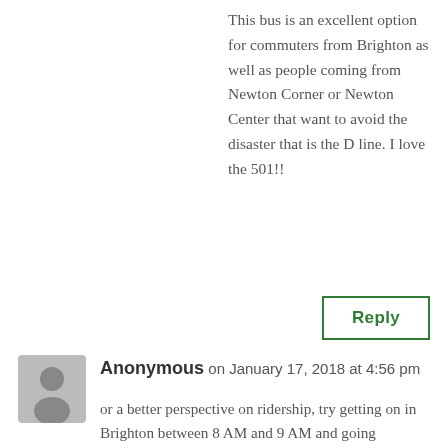This bus is an excellent option for commuters from Brighton as well as people coming from Newton Corner or Newton Center that want to avoid the disaster that is the D line. I love the 501!!
Reply
Anonymous on January 17, 2018 at 4:56 pm
or a better perspective on ridership, try getting on in Brighton between 8 AM and 9 AM and going downtown. The bus will be packed! I get on at Cufflin St, and sometimes I have to wait for a second bus because the first one is completely full. Luckily, there are only 10 minute headways during rush hour. Usually, about 80% of the riders get off at the first downtown Boston stop on Lincoln St, with the